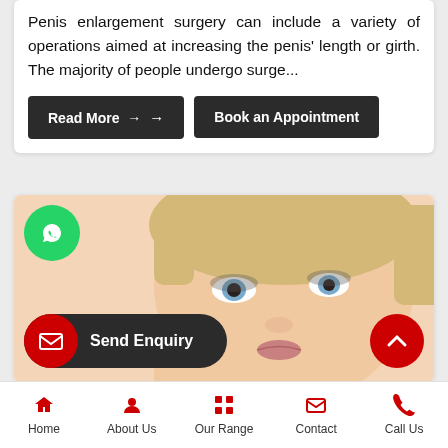Penis enlargement surgery can include a variety of operations aimed at increasing the penis' length or girth. The majority of people undergo surge...
Read More →
Book an Appointment
[Figure (photo): Close-up photo of a blonde woman with blue eyes and makeup, looking at camera with hand near face]
Send Enquiry
Home | About Us | Our Range | Contact | Call Us